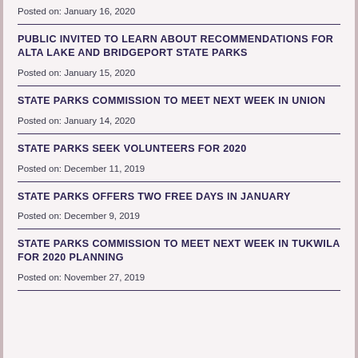Posted on: January 16, 2020
PUBLIC INVITED TO LEARN ABOUT RECOMMENDATIONS FOR ALTA LAKE AND BRIDGEPORT STATE PARKS
Posted on: January 15, 2020
STATE PARKS COMMISSION TO MEET NEXT WEEK IN UNION
Posted on: January 14, 2020
STATE PARKS SEEK VOLUNTEERS FOR 2020
Posted on: December 11, 2019
STATE PARKS OFFERS TWO FREE DAYS IN JANUARY
Posted on: December 9, 2019
STATE PARKS COMMISSION TO MEET NEXT WEEK IN TUKWILA FOR 2020 PLANNING
Posted on: November 27, 2019